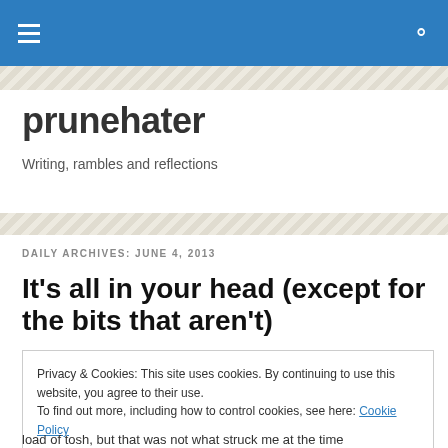prunehater — Writing, rambles and reflections
DAILY ARCHIVES: JUNE 4, 2013
It’s all in your head (except for the bits that aren’t)
Privacy & Cookies: This site uses cookies. By continuing to use this website, you agree to their use. To find out more, including how to control cookies, see here: Cookie Policy
load of tosh, but that was not what struck me at the time